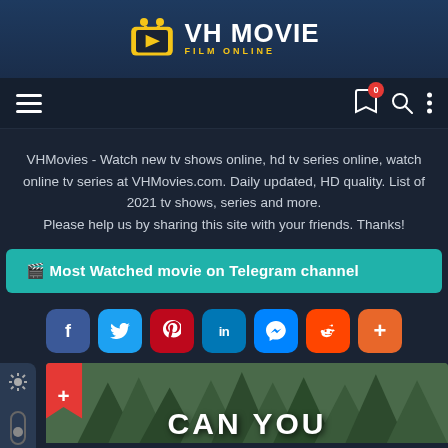[Figure (logo): VH Movie Film Online logo - yellow TV icon with play button and white text]
[Figure (screenshot): Navigation bar with hamburger menu, bookmark icon with badge 0, search icon, and more options icon]
VHMovies - Watch new tv shows online, hd tv series online, watch online tv series at VHMovies.com. Daily updated, HD quality. List of 2021 tv shows, series and more.
Please help us by sharing this site with your friends. Thanks!
🎬 Most Watched movie on Telegram channel
[Figure (screenshot): Social share buttons: Facebook, Twitter, Pinterest, LinkedIn, Messenger, Reddit, More]
[Figure (photo): Movie poster showing forest/trees background with text CAN YOU at bottom]